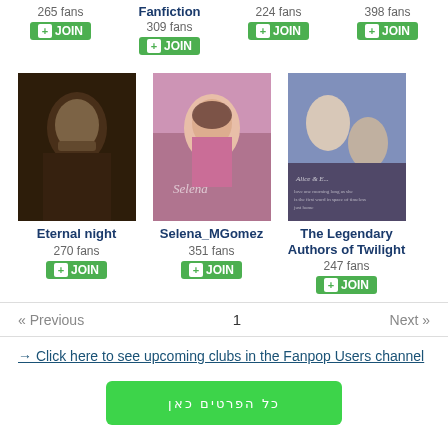265 fans JOIN
Fanfiction
309 fans JOIN
224 fans JOIN
398 fans JOIN
[Figure (photo): Dark male figure - Eternal night club image]
Eternal night
270 fans JOIN
[Figure (photo): Selena Gomez fan club image]
Selena_MGomez
351 fans JOIN
[Figure (photo): The Legendary Authors of Twilight club image]
The Legendary Authors of Twilight
247 fans JOIN
« Previous   1   Next »
→ Click here to see upcoming clubs in the Fanpop Users channel
כל הפרטים כאן